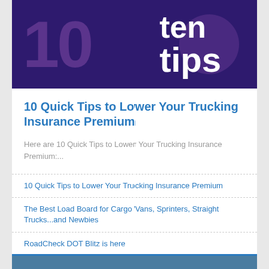[Figure (illustration): Dark purple background banner with large '10' text on the left in a darker purple, and 'ten tips' text on the right in white bold letters, with a circular design element]
10 Quick Tips to Lower Your Trucking Insurance Premium
Here are 10 Quick Tips to Lower Your Trucking Insurance Premium:...
10 Quick Tips to Lower Your Trucking Insurance Premium
The Best Load Board for Cargo Vans, Sprinters, Straight Trucks...and Newbies
RoadCheck DOT Blitz is here